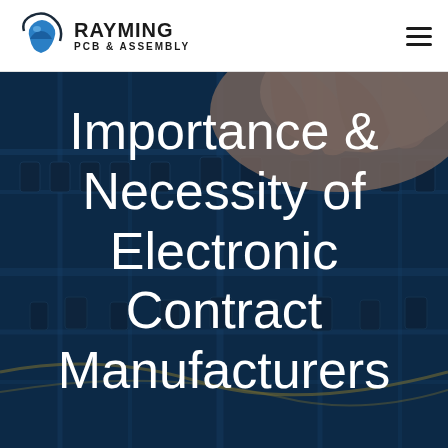[Figure (logo): Rayming PCB & Assembly logo with circular blue swoosh icon and company name]
[Figure (photo): Close-up photo of a hand touching electronic components on a blue PCB circuit board, used as hero background image]
Importance & Necessity of Electronic Contract Manufacturers